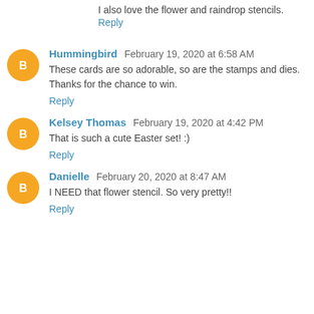I also love the flower and raindrop stencils.
Reply
Hummingbird  February 19, 2020 at 6:58 AM
These cards are so adorable, so are the stamps and dies. Thanks for the chance to win.
Reply
Kelsey Thomas  February 19, 2020 at 4:42 PM
That is such a cute Easter set! :)
Reply
Danielle  February 20, 2020 at 8:47 AM
I NEED that flower stencil. So very pretty!!
Reply